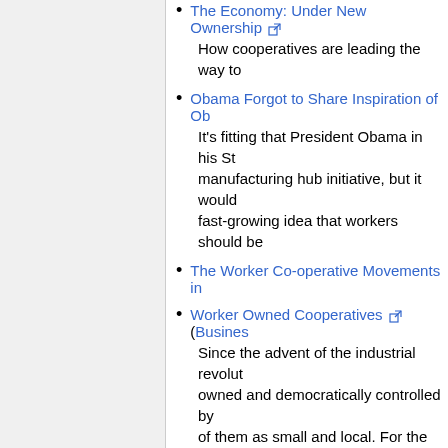The Economy: Under New Ownership [ext] — How cooperatives are leading the way to...
Obama Forgot to Share Inspiration of Ob... — It's fitting that President Obama in his St... manufacturing hub initiative, but it would... fast-growing idea that workers should be...
The Worker Co-operative Movements in...
Worker Owned Cooperatives [ext] (Busines... — Since the advent of the industrial revolut... owned and democratically controlled by... of them as small and local. For the most... different story.
Employee-Owned Businesses Ignored b... — A bold new threat to the economic status...
Portland's Bike Co-operatives [ext] - Strivin... — Portland's community of worker-owned a... a city where anyone can ride a bike, anc...